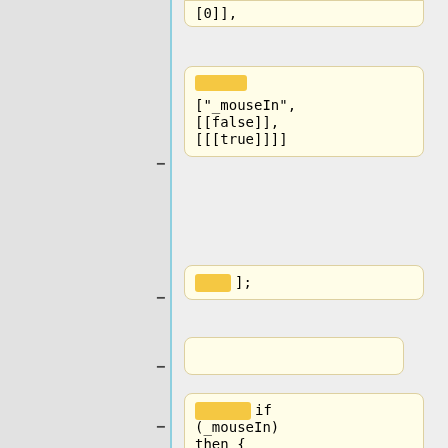[Figure (screenshot): Code editor screenshot showing code blocks with syntax highlighting. Multiple code snippets in monospace font on light yellow/cream background cards with orange/yellow highlights, arranged vertically with a left gray panel and blue vertical line.]
[0]],
["_mouseIn", [[false]], [[[true]]]]
];
if (_mouseIn) then {
// Mouse is in control area
_mapCtrl [[ctrlMapCursor]] ["", "Track"]